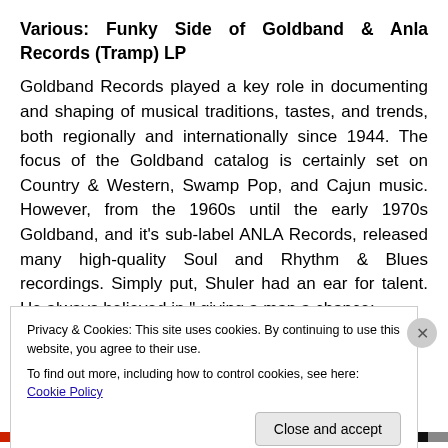Various: Funky Side of Goldband & Anla Records (Tramp) LP
Goldband Records played a key role in documenting and shaping of musical traditions, tastes, and trends, both regionally and internationally since 1944. The focus of the Goldband catalog is certainly set on Country & Western, Swamp Pop, and Cajun music. However, from the 1960s until the early 1970s Goldband, and it’s sub-label ANLA Records, released many high-quality Soul and Rhythm & Blues recordings. Simply put, Shuler had an ear for talent. He always believed in “ giving a man a chance:
Privacy & Cookies: This site uses cookies. By continuing to use this website, you agree to their use.
To find out more, including how to control cookies, see here: Cookie Policy
Close and accept